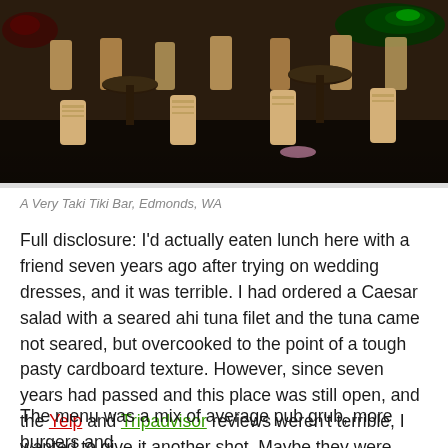[Figure (photo): Interior of A Very Taki Tiki Bar showing wooden bar stools and high tables in a dimly lit pub setting with green accent lighting in the background]
A Very Taki Tiki Bar, Edmonds, WA
Full disclosure: I'd actually eaten lunch here with a friend seven years ago after trying on wedding dresses, and it was terrible. I had ordered a Caesar salad with a seared ahi tuna filet and the tuna came not seared, but overcooked to the point of a tough pasty cardboard texture. However, since seven years had passed and this place was still open, and the Yelp and Tripadvisor reviews weren't terrible, I wanted to give it another shot. Maybe they were having problems with an untrained cook back then.
The menu was a mix of average pub grub, more burgers and